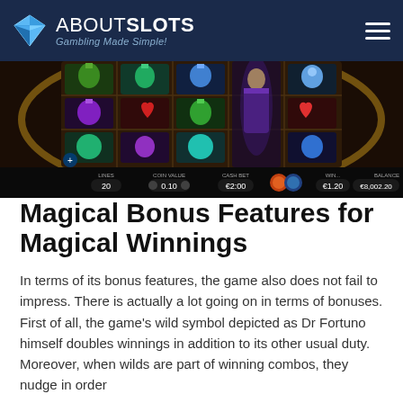ABOUTSLOTS — Gambling Made Simple!
[Figure (screenshot): Screenshot of Dr Fortuno slot game showing a 5x3 grid of potion symbols with game controls at the bottom showing LINES: 20, COIN VALUE: 0.10, CASH BET: €2.00, WIN: €1.20, BALANCE: €8,002.20]
Magical Bonus Features for Magical Winnings
In terms of its bonus features, the game also does not fail to impress. There is actually a lot going on in terms of bonuses. First of all, the game's wild symbol depicted as Dr Fortuno himself doubles winnings in addition to its other usual duty. Moreover, when wilds are part of winning combos, they nudge in order